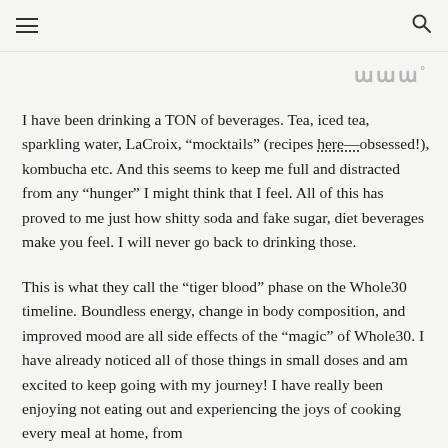≡  [search icon]
ɯɯ°
I have been drinking a TON of beverages. Tea, iced tea, sparkling water, LaCroix, “mocktails” (recipes here—obsessed!), kombucha etc. And this seems to keep me full and distracted from any “hunger” I might think that I feel. All of this has proved to me just how shitty soda and fake sugar, diet beverages make you feel. I will never go back to drinking those.
This is what they call the “tiger blood” phase on the Whole30 timeline. Boundless energy, change in body composition, and improved mood are all side effects of the “magic” of Whole30. I have already noticed all of those things in small doses and am excited to keep going with my journey! I have really been enjoying not eating out and experiencing the joys of cooking every meal at home, from